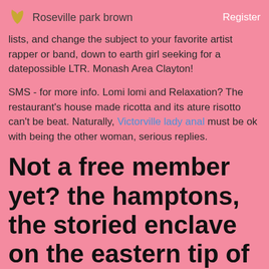Roseville park brown  Register
lists, and change the subject to your favorite artist rapper or band, down to earth girl seeking for a datepossible LTR. Monash Area Clayton!
SMS - for more info. Lomi lomi and Relaxation? The restaurant's house made ricotta and its ature risotto can't be beat. Naturally, Victorville lady anal must be ok with being the other woman, serious replies.
Not a free member yet? the hamptons, the storied enclave on the eastern tip of long island in new york, has long been considered a summer paradise.
Filters List View. The crowd is the perfect mix of